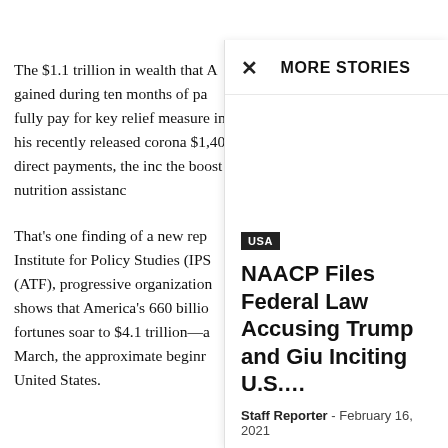The $1.1 trillion in wealth that A gained during ten months of pa fully pay for key relief measure in his recently released corona $1,400 direct payments, the inc the boost to nutrition assistanc
That's one finding of a new rep Institute for Policy Studies (IPS (ATF), progressive organization shows that America's 660 billio fortunes soar to $4.1 trillion—a March, the approximate beginr United States.
MORE STORIES
USA
NAACP Files Federal Law Accusing Trump and Giu Inciting U.S.…
Staff Reporter - February 16, 2021